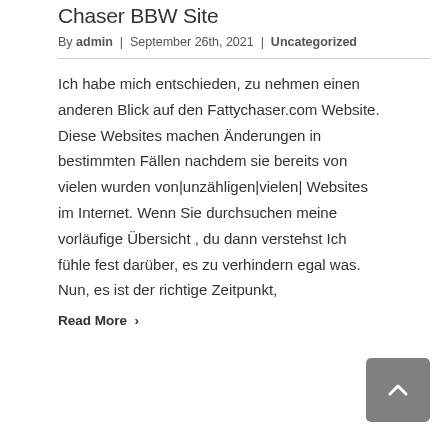Chaser BBW Site
By admin | September 26th, 2021 | Uncategorized
Ich habe mich entschieden, zu nehmen einen anderen Blick auf den Fattychaser.com Website. Diese Websites machen Änderungen in bestimmten Fällen nachdem sie bereits von vielen wurden von|unzähligen|vielen| Websites im Internet. Wenn Sie durchsuchen meine vorläufige Übersicht , du dann verstehst Ich fühle fest darüber, es zu verhindern egal was. Nun, es ist der richtige Zeitpunkt,
Read More ›